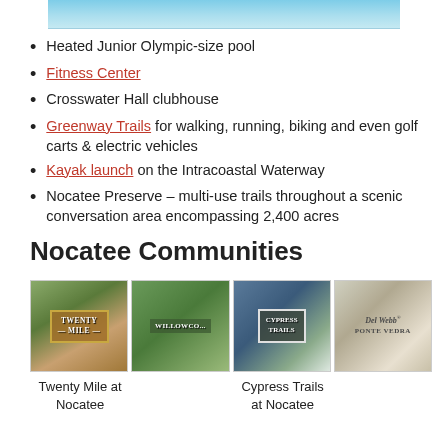[Figure (photo): Top portion of a swimming pool with blue water]
Heated Junior Olympic-size pool
Fitness Center
Crosswater Hall clubhouse
Greenway Trails for walking, running, biking and even golf carts & electric vehicles
Kayak launch on the Intracoastal Waterway
Nocatee Preserve – multi-use trails throughout a scenic conversation area encompassing 2,400 acres
Nocatee Communities
[Figure (photo): Four community entrance signs: Twenty Mile at Nocatee, Willowcove, Cypress Trails, Del Webb Ponte Vedra]
Twenty Mile at Nocatee
Cypress Trails at Nocatee